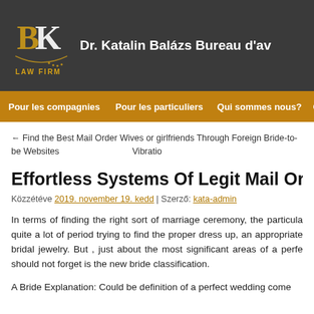[Figure (logo): BK Law Firm logo with stylized BK letters in gold/white on dark background]
Dr. Katalin Balázs Bureau d'av
Pour les compagnies | Pour les particuliers | Qui sommes nous? | Co
← Find the Best Mail Order Wives or girlfriends Through Foreign Bride-to-be Websites    Vibratio
Effortless Systems Of Legit Mail Order Bri
Közzétéve 2019. november 19. kedd | Szerző: kata-admin
In terms of finding the right sort of marriage ceremony, the particula quite a lot of period trying to find the proper dress up, an appropriate bridal jewelry. But , just about the most significant areas of a perfe should not forget is the new bride classification.
A Bride Explanation: Could be definition of a perfect wedding come